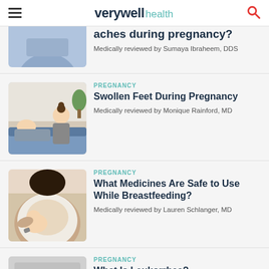verywell health
aches during pregnancy?
Medically reviewed by Sumaya Ibraheem, DDS
PREGNANCY
Swollen Feet During Pregnancy
Medically reviewed by Monique Rainford, MD
[Figure (photo): Man talking to pregnant woman lying on couch]
PREGNANCY
What Medicines Are Safe to Use While Breastfeeding?
Medically reviewed by Lauren Schlanger, MD
[Figure (photo): Woman breastfeeding baby]
PREGNANCY
What Is Leukorrhea?